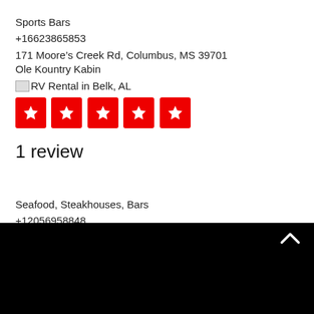Sports Bars
+16623865853
171 Moore’s Creek Rd, Columbus, MS 39701
Ole Kountry Kabin
[Figure (other): Small broken image icon followed by text: RV Rental in Belk, AL]
[Figure (other): Five red star rating boxes with white star icons]
1 review
Seafood, Steakhouses, Bars
+12056958848
39720 Highway 17, Vernon, AL 35592
The Princess Theatre
[Figure (photo): Black image block at the bottom of the page with a white chevron/up-arrow icon in the upper right corner]